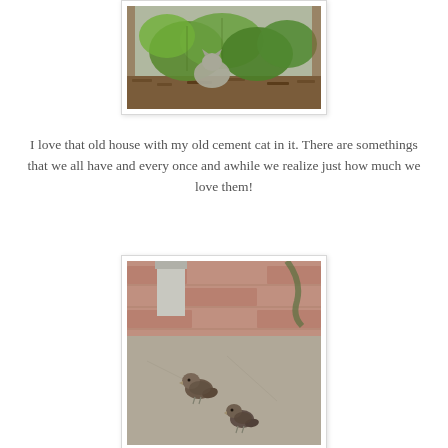[Figure (photo): Outdoor garden photo showing green leaves and a cement/stone cat figure partially visible among vegetation and mulch.]
I love that old house with my old cement cat in it. There are somethings that we all have and every once and awhile we realize just how much we love them!
[Figure (photo): Outdoor patio photo showing two small brown birds (sparrows) sitting on a concrete/brick surface near a downspout or pipe structure.]